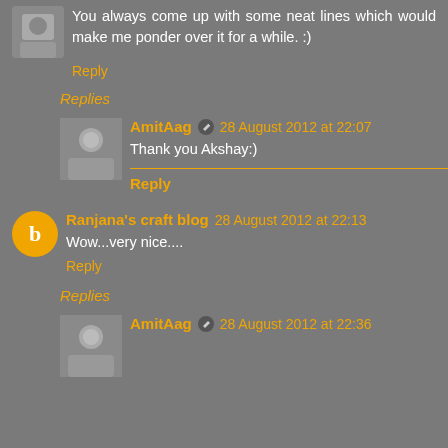You always come up with some neat lines which would make me ponder over it for a while. :)
Reply
Replies
AmitAag  28 August 2012 at 22:07
Thank you Akshay:)
Reply
Ranjana's craft blog  28 August 2012 at 22:13
Wow...very nice....
Reply
Replies
AmitAag  28 August 2012 at 22:36